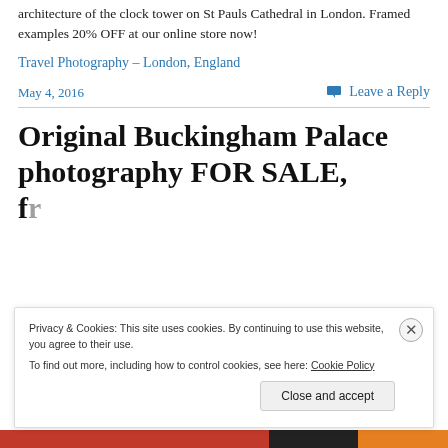architecture of the clock tower on St Pauls Cathedral in London. Framed examples 20% OFF at our online store now!
Travel Photography – London, England
May 4, 2016
Leave a Reply
Original Buckingham Palace photography FOR SALE, framed...
Privacy & Cookies: This site uses cookies. By continuing to use this website, you agree to their use.
To find out more, including how to control cookies, see here: Cookie Policy
Close and accept